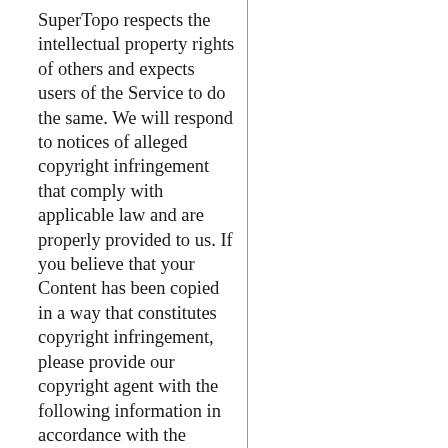SuperTopo respects the intellectual property rights of others and expects users of the Service to do the same. We will respond to notices of alleged copyright infringement that comply with applicable law and are properly provided to us. If you believe that your Content has been copied in a way that constitutes copyright infringement, please provide our copyright agent with the following information in accordance with the Digital Millennium Copyright Act: (i) a physical or electronic